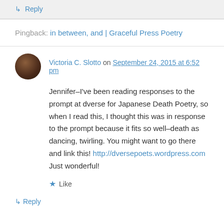↳ Reply
Pingback: in between, and | Graceful Press Poetry
Victoria C. Slotto on September 24, 2015 at 6:52 pm
Jennifer–I've been reading responses to the prompt at dverse for Japanese Death Poetry, so when I read this, I thought this was in response to the prompt because it fits so well–death as dancing, twirling. You might want to go there and link this! http://dversepoets.wordpress.com Just wonderful!
★ Like
↳ Reply